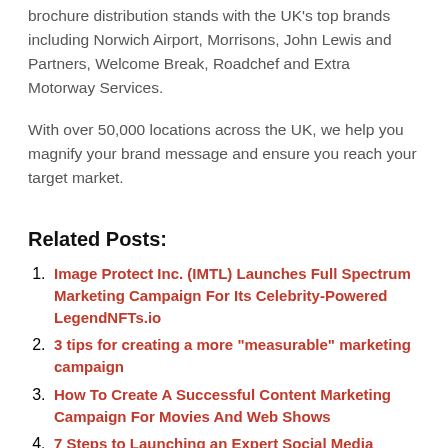brochure distribution stands with the UK's top brands including Norwich Airport, Morrisons, John Lewis and Partners, Welcome Break, Roadchef and Extra Motorway Services.
With over 50,000 locations across the UK, we help you magnify your brand message and ensure you reach your target market.
Related Posts:
Image Protect Inc. (IMTL) Launches Full Spectrum Marketing Campaign For Its Celebrity-Powered LegendNFTs.io
3 tips for creating a more “measurable” marketing campaign
How To Create A Successful Content Marketing Campaign For Movies And Web Shows
7 Steps to Launching an Expert Social Media